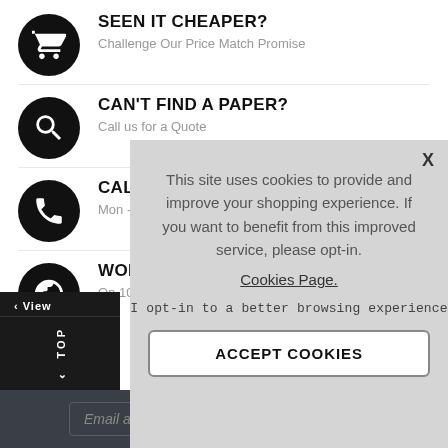[Figure (infographic): Shopping cart icon in black circle with heading SEEN IT CHEAPER? and subtext Challenge Our Price Match Promise]
SEEN IT CHEAPER?
Challenge Our Price Match Promise
[Figure (infographic): Search/magnify icon in black circle with heading CAN'T FIND A PAPER? and subtext Call us for a Quote]
CAN'T FIND A PAPER?
Call us for a Quote
[Figure (infographic): Phone icon in black circle with heading CALL US: 0121 289 4290 and subtext Mon - Thu / 9am - 5pm / Fri 9am - 4pm]
CALL US: 0121 289 4290
Mon - Thu / 9am - 5pm / Fri 9am - 4pm
[Figure (infographic): Globe icon in black circle with heading WORLD... and subtext On 1000's...]
WORLD
On 1000's
This site uses cookies to provide and improve your shopping experience. If you want to benefit from this improved service, please opt-in.
Cookies Page.
I opt-in to a better browsing experience
ACCEPT COOKIES
Email address...